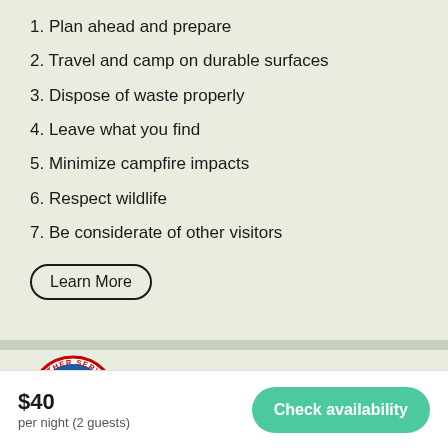1. Plan ahead and prepare
2. Travel and camp on durable surfaces
3. Dispose of waste properly
4. Leave what you find
5. Minimize campfire impacts
6. Respect wildlife
7. Be considerate of other visitors
Learn More
[Figure (logo): National Weather Service circular logo with blue globe and lightning bolt, red text reading NATIONAL WEATHER SERVICE around the border]
$40
per night (2 guests)
Check availability